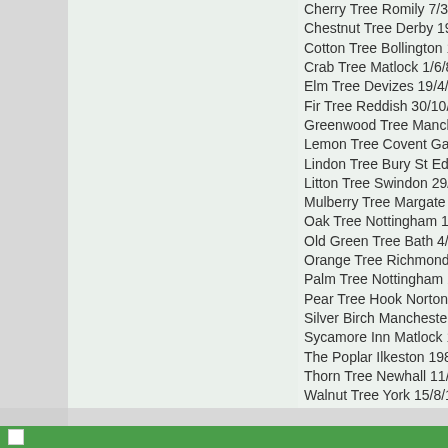Cherry Tree Romily 7/3/98
Chestnut Tree Derby 19/10/83
Cotton Tree Bollington 19/11/88
Crab Tree Matlock 1/6/82
Elm Tree Devizes 19/4/08
Fir Tree Reddish 30/10/98
Greenwood Tree Manchester 9/
Lemon Tree Covent Garden 12/
Lindon Tree Bury St Edmunds 3/
Litton Tree Swindon 29/9/01
Mulberry Tree Margate 2/8/83
Oak Tree Nottingham 14/10/06
Old Green Tree Bath 4/8/01
Orange Tree Richmond 13/11/8
Palm Tree Nottingham 27/11/82
Pear Tree Hook Norton 16/7/88
Silver Birch Manchester 9/4/94
Sycamore Inn Matlock 1/6/82
The Poplar Ilkeston 1981
Thorn Tree Newhall 11/3/06
Walnut Tree York 15/8/10
Yew Tree Brinsley 21/9/83
I hope some other people can fi